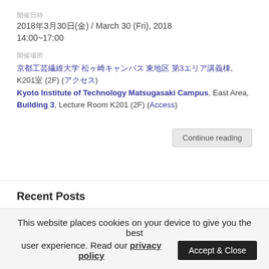開催日時
2018年3月30日(金) / March 30 (Fri), 2018
14:00~17:00
開催場所
京都工芸繊維大学 松ヶ崎キャンパス 東地区 第3エリア講義棟K201室, K201室 (2F) (アクセス)
Kyoto Institute of Technology Matsugasaki Campus, East Area, Building 3, Lecture Room K201 (2F) (Access)
Continue reading
Recent Posts
JSTQE on Photonic Electronic Co-Integration and Advanced Transfer Printing July 10, 2022
電子情報通信学会 LQE/R/EMD/CPM/OPEソサイエティ July 6, 2022
This website places cookies on your device to give you the best user experience. Read our privacy policy  Accept & Close